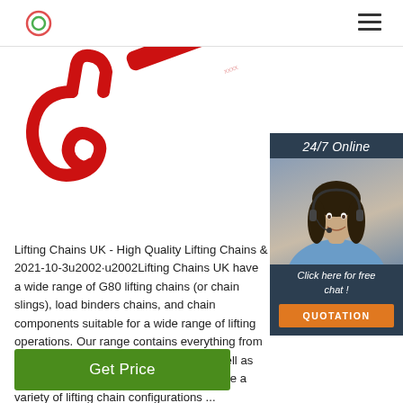Navigation bar with logo and hamburger menu
[Figure (photo): Red lifting chain hook and red load binder bar on white background, photographed from above/diagonal angle]
[Figure (photo): 24/7 Online chat widget showing a smiling woman with headset wearing a blue shirt, with dark blue background header saying '24/7 Online', italic text 'Click here for free chat !', and an orange QUOTATION button]
Lifting Chains UK - High Quality Lifting Chains & 2021-10-3u2002·u2002Lifting Chains UK have a wide range of G80 lifting chains (or chain slings), load binders chains, and chain components suitable for a wide range of lifting operations. Our range contains everything from G80 lifting chains in 8, 10 or 13mm as well as all the other components required to make a variety of lifting chain configurations ...
Get Price